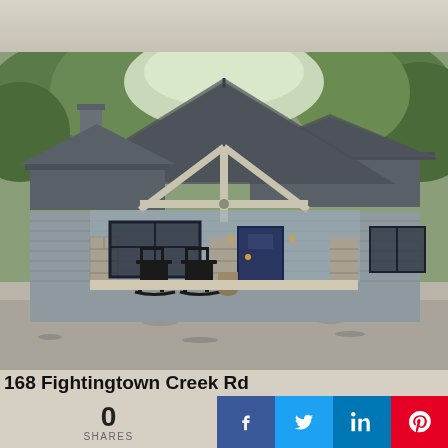[Figure (photo): Exterior photo of a gray craftsman-style house with gable roof, covered front porch with A-frame timber structure, rocking chairs, stone pillar accents, dark navy front door, and gravel driveway surrounded by trees.]
168 Fightingtown Creek Rd
Mccaysville, Georgia 30555
0
SHARES